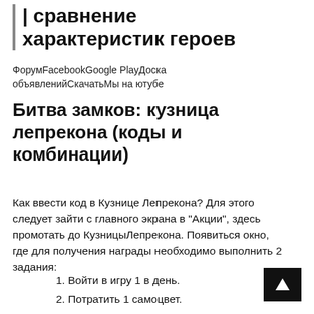| сравнение характеристик героев
ФорумFacebookGoogle PlayДоска объявленийСкачатьМы на ютубе
Битва замков: кузница лепрекона (коды и комбинации)
Как ввести код в Кузнице Лепрекона? Для этого следует зайти с главного экрана в "Акции", здесь промотать до КузницыЛепрекона. Появиться окно, где для получения награды необходимо выполнить 2 задания:
1. Войти в игру 1 в день.
2. Потратить 1 самоцвет.